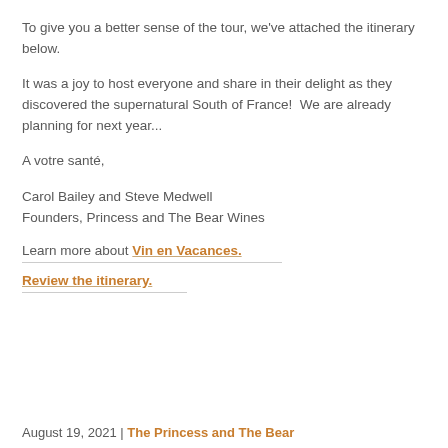To give you a better sense of the tour, we've attached the itinerary below.
It was a joy to host everyone and share in their delight as they discovered the supernatural South of France!  We are already planning for next year...
A votre santé,
Carol Bailey and Steve Medwell
Founders, Princess and The Bear Wines
Learn more about Vin en Vacances.
Review the itinerary.
August 19, 2021 | The Princess and The Bear